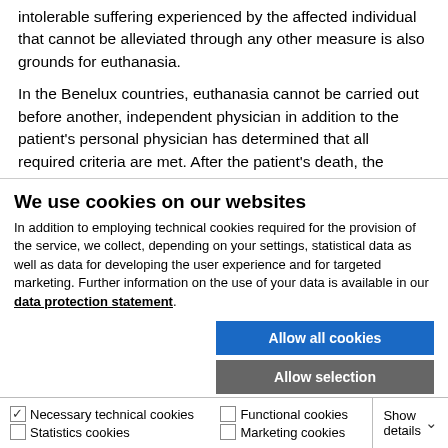intolerable suffering experienced by the affected individual that cannot be alleviated through any other measure is also grounds for euthanasia.
In the Benelux countries, euthanasia cannot be carried out before another, independent physician in addition to the patient's personal physician has determined that all required criteria are met. After the patient's death, the
We use cookies on our websites
In addition to employing technical cookies required for the provision of the service, we collect, depending on your settings, statistical data as well as data for developing the user experience and for targeted marketing. Further information on the use of your data is available in our data protection statement.
Allow all cookies
Allow selection
Use necessary cookies only
Necessary technical cookies   Functional cookies   Statistics cookies   Marketing cookies   Show details